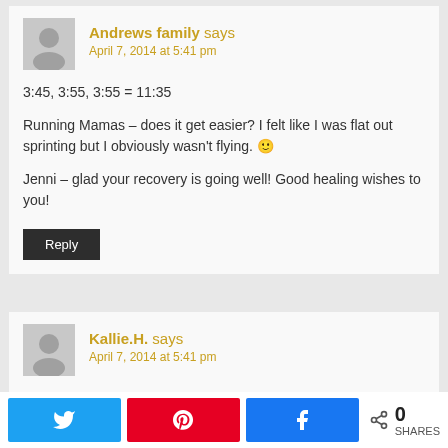Andrews family says
April 7, 2014 at 5:41 pm
3:45, 3:55, 3:55 = 11:35

Running Mamas – does it get easier? I felt like I was flat out sprinting but I obviously wasn't flying. 🙂

Jenni – glad your recovery is going well! Good healing wishes to you!
Reply
Kallie.H. says
April 7, 2014 at 5:41 pm
0 SHARES